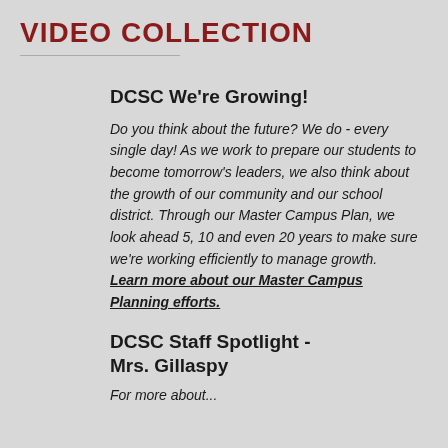VIDEO COLLECTION
DCSC We're Growing!
Do you think about the future? We do - every single day! As we work to prepare our students to become tomorrow's leaders, we also think about the growth of our community and our school district. Through our Master Campus Plan, we look ahead 5, 10 and even 20 years to make sure we're working efficiently to manage growth. Learn more about our Master Campus Planning efforts.
DCSC Staff Spotlight - Mrs. Gillaspy
For more about...